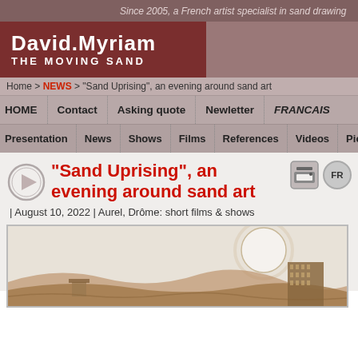Since 2005, a French artist specialist in sand drawing
David.Myriam The Moving Sand
Home > NEWS > "Sand Uprising", an evening around sand art
HOME | Contact | Asking quote | Newsletter | FRANCAIS
Presentation | News | Shows | Films | References | Videos | Pictures
"Sand Uprising", an evening around sand art
| August 10, 2022 | Aurel, Drôme: short films & shows
[Figure (illustration): Sand art drawing showing a desert landscape with buildings, a large white circle (sun or moon), and flowing sand formations in sepia/brown tones]